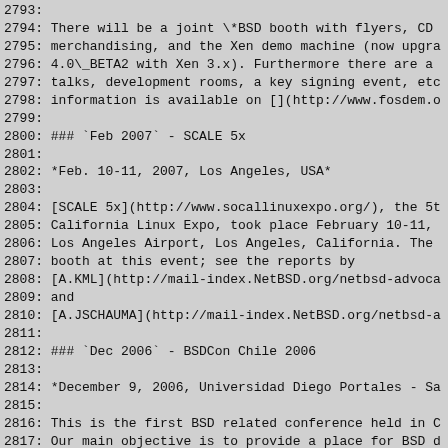2793:
2794: There will be a joint \*BSD booth with flyers, CD
2795: merchandising, and the Xen demo machine (now upgra
2796: 4.0\_BETA2 with Xen 3.x). Furthermore there are a
2797: talks, development rooms, a key signing event, etc
2798: information is available on [](http://www.fosdem.o
2799:
2800: ### `Feb 2007` - SCALE 5x
2801:
2802: *Feb. 10-11, 2007, Los Angeles, USA*
2803:
2804: [SCALE 5x](http://www.socallinuxexpo.org/), the 5t
2805: California Linux Expo, took place February 10-11,
2806: Los Angeles Airport, Los Angeles, California. The
2807: booth at this event; see the reports by
2808: [A.KML](http://mail-index.NetBSD.org/netbsd-advoca
2809: and
2810: [A.JSCHAUMA](http://mail-index.NetBSD.org/netbsd-a
2811:
2812: ### `Dec 2006` - BSDCon Chile 2006
2813:
2814: *December 9, 2006, Universidad Diego Portales - Sa
2815:
2816: This is the first BSD related conference held in C
2817: Our main objective is to provide a place for BSD d
2818: Sysadmins to meet in Chile to share and interchang
2819: knowledge and in addition to socialize to construc
2820: expand knowledge of BSD systems.
2821:
2822: The conference is for anyone developing, administ